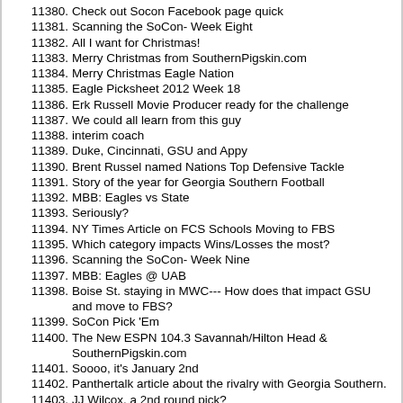11380. Check out Socon Facebook page quick
11381. Scanning the SoCon- Week Eight
11382. All I want for Christmas!
11383. Merry Christmas from SouthernPigskin.com
11384. Merry Christmas Eagle Nation
11385. Eagle Picksheet 2012 Week 18
11386. Erk Russell Movie Producer ready for the challenge
11387. We could all learn from this guy
11388. interim coach
11389. Duke, Cincinnati, GSU and Appy
11390. Brent Russel named Nations Top Defensive Tackle
11391. Story of the year for Georgia Southern Football
11392. MBB: Eagles vs State
11393. Seriously?
11394. NY Times Article on FCS Schools Moving to FBS
11395. Which category impacts Wins/Losses the most?
11396. Scanning the SoCon- Week Nine
11397. MBB: Eagles @ UAB
11398. Boise St. staying in MWC--- How does that impact GSU and move to FBS?
11399. SoCon Pick 'Em
11400. The New ESPN 104.3 Savannah/Hilton Head & SouthernPigskin.com
11401. Soooo, it's January 2nd
11402. Panthertalk article about the rivalry with Georgia Southern.
11403. JJ Wilcox, a 2nd round pick?
11404. KSU to present football plan to Board of Regents
11405. Gov. Deal Appoints Four New Regents
11406. MBB: Eagles vs NC A&T